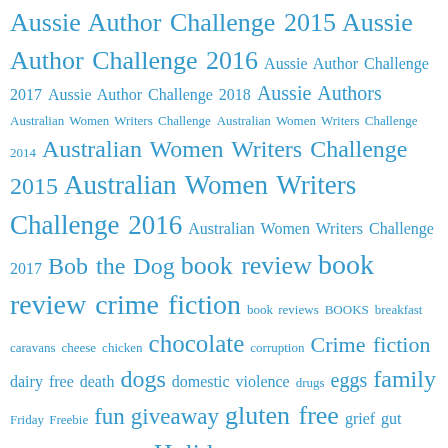Aussie Author Challenge 2015 Aussie Author Challenge 2016 Aussie Author Challenge 2017 Aussie Author Challenge 2018 Aussie Authors Australian Women Writers Challenge Australian Women Writers Challenge 2014 Australian Women Writers Challenge 2015 Australian Women Writers Challenge 2016 Australian Women Writers Challenge 2017 Bob the Dog book review book review crime fiction book reviews BOOKS breakfast caravans cheese chicken chocolate corruption Crime fiction dairy free death dogs domestic violence drugs eggs family Friday Freebie fun giveaway gluten free grief gut health hachette australia Holidays hope humour identity lies Life loss love murder music mystery